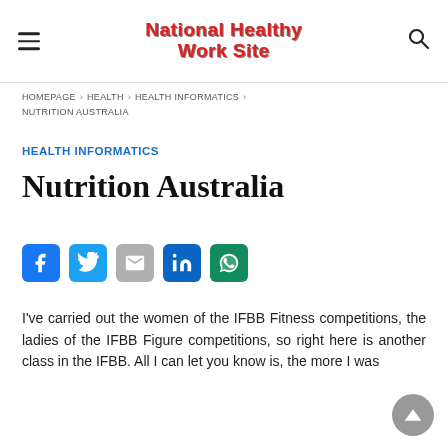National Healthy Work Site
HOMEPAGE > HEALTH > HEALTH INFORMATICS > NUTRITION AUSTRALIA
HEALTH INFORMATICS
Nutrition Australia
[Figure (infographic): Social share buttons: Facebook, Twitter, Gmail, LinkedIn, WhatsApp]
I've carried out the women of the IFBB Fitness competitions, the ladies of the IFBB Figure competitions, so right here is another class in the IFBB. All I can let you know is, the more I was